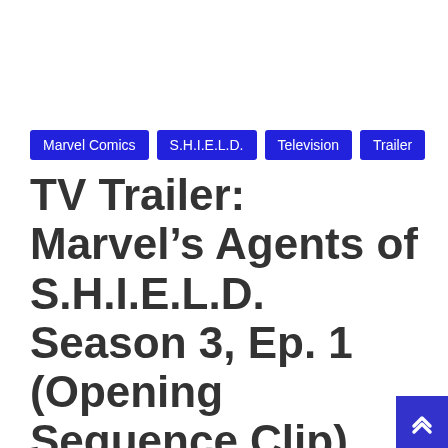Marvel Comics
S.H.I.E.L.D.
Television
Trailer
TV Trailer: Marvel’s Agents of S.H.I.E.L.D. Season 3, Ep. 1 (Opening Sequence Clip)
September 24, 2015   Larry Litle
Are you anxiously waiting for the return of Marvel’s Agents of S.H.I.E.L.D.? I know I am. This Opening Sequence Clip for the first episode of Season 3 might just